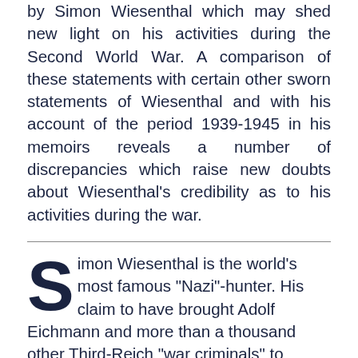by Simon Wiesenthal which may shed new light on his activities during the Second World War. A comparison of these statements with certain other sworn statements of Wiesenthal and with his account of the period 1939-1945 in his memoirs reveals a number of discrepancies which raise new doubts about Wiesenthal's credibility as to his activities during the war.
Simon Wiesenthal is the world's most famous "Nazi"-hunter. His claim to have brought Adolf Eichmann and more than a thousand other Third-Reich "war criminals" to justice has become the stuff of po... familiar to tens of millions through his own...